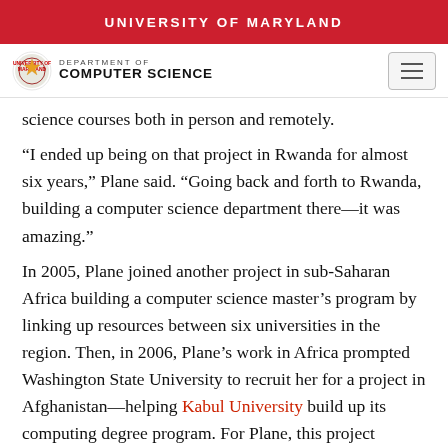UNIVERSITY OF MARYLAND
[Figure (logo): University of Maryland Department of Computer Science navigation bar with UMD seal logo, department name, and hamburger menu icon]
science courses both in person and remotely.
“I ended up being on that project in Rwanda for almost six years,” Plane said. “Going back and forth to Rwanda, building a computer science department there—it was amazing.”
In 2005, Plane joined another project in sub-Saharan Africa building a computer science master’s program by linking up resources between six universities in the region. Then, in 2006, Plane’s work in Africa prompted Washington State University to recruit her for a project in Afghanistan—helping Kabul University build up its computing degree program. For Plane, this project presented a whole new set of challenges.
“Working on the project in Kabul for five years was different than my previous projects in Africa because I was teaching